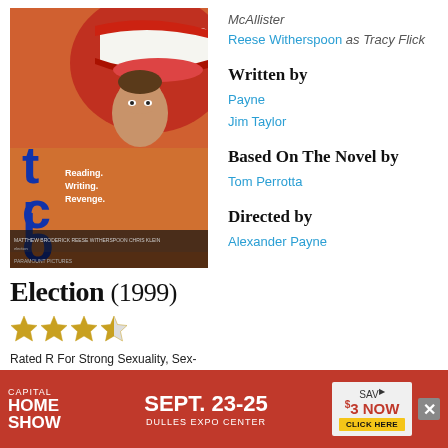[Figure (photo): Movie poster for Election (1999) showing a large open mouth with red lips and a man's face, with the title partially visible and tagline 'Reading. Writing. Revenge.']
Election (1999)
[Figure (other): 3.5 out of 5 stars rating displayed as gold star icons]
Rated R For Strong Sexuality, Sex-Related Dialogue and Language, and A Scene Of Drug Use
104 minutes
McAllister
Reese Witherspoon as Tracy Flick
Written by
Payne
Jim Taylor
Based On The Novel by
Tom Perrotta
Directed by
Alexander Payne
[Figure (other): Advertisement banner for Capital Home Show, Sept. 23-25, Dulles Expo Center, Save $3 Now - Click Here]